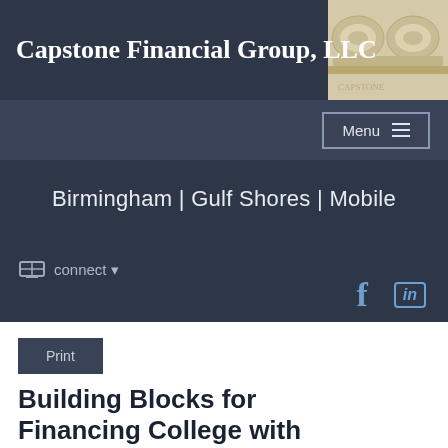Capstone Financial Group, LLC
Menu
Birmingham | Gulf Shores | Mobile
connect
Print
Building Blocks for Financing College with